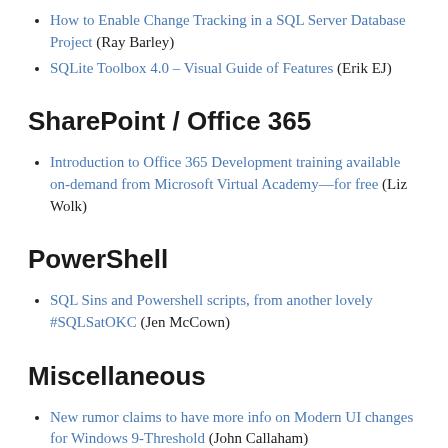How to Enable Change Tracking in a SQL Server Database Project (Ray Barley)
SQLite Toolbox 4.0 – Visual Guide of Features (Erik EJ)
SharePoint / Office 365
Introduction to Office 365 Development training available on-demand from Microsoft Virtual Academy—for free (Liz Wolk)
PowerShell
SQL Sins and Powershell scripts, from another lovely #SQLSatOKC (Jen McCown)
Miscellaneous
New rumor claims to have more info on Modern UI changes for Windows 9-Threshold (John Callaham)
MSMQ Studio v1.1.0 released (Kjell-Åke Gafvelin)